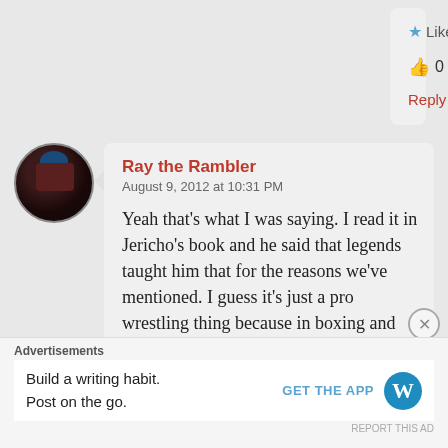Like
👍 0 👎 0 ℹ Rate This
Reply
Ray the Rambler
August 9, 2012 at 10:31 PM
Yeah that's what I was saying. I read it in Jericho's book and he said that legends taught him that for the reasons we've mentioned. I guess it's just a pro wrestling thing because in boxing and
Advertisements
Build a writing habit.
Post on the go.
GET THE APP